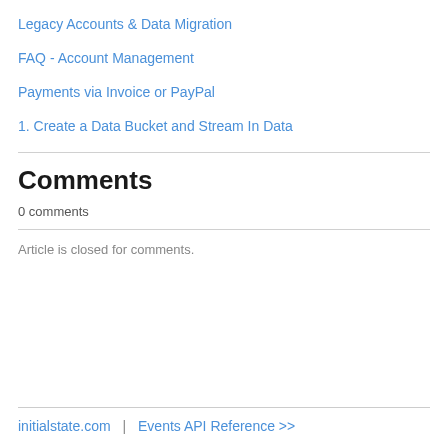Legacy Accounts & Data Migration
FAQ - Account Management
Payments via Invoice or PayPal
1. Create a Data Bucket and Stream In Data
Comments
0 comments
Article is closed for comments.
initialstate.com  |  Events API Reference >>